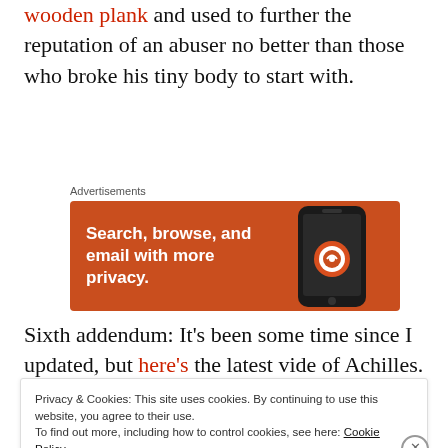wooden plank and used to further the reputation of an abuser no better than those who broke his tiny body to start with.
Advertisements
[Figure (photo): DuckDuckGo advertisement banner: orange background with white bold text 'Search, browse, and email with more privacy.' and an image of a smartphone on the right.]
Sixth addendum: It’s been some time since I updated, but here’s the latest vide of Achilles. Serio gushes about
Privacy & Cookies: This site uses cookies. By continuing to use this website, you agree to their use.
To find out more, including how to control cookies, see here: Cookie Policy
Close and accept